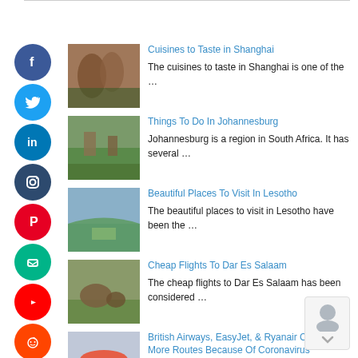Cuisines to Taste in Shanghai — The cuisines to taste in Shanghai is one of the …
Things To Do In Johannesburg — Johannesburg is a region in South Africa. It has several …
Beautiful Places To Visit In Lesotho — The beautiful places to visit in Lesotho have been the …
Cheap Flights To Dar Es Salaam — The cheap flights to Dar Es Salaam has been considered …
British Airways, EasyJet, & Ryanair Cancels More Routes Because Of Coronavirus — The British Airways, EasyJet, and Ryanair